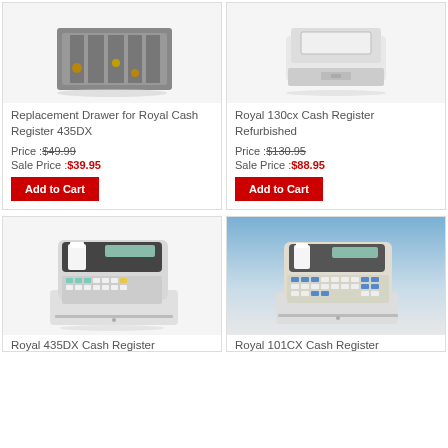[Figure (photo): Replacement cash drawer tray for Royal Cash Register 435DX, gray plastic, open view showing coin compartments]
Replacement Drawer for Royal Cash Register 435DX
Price :$49.99
Sale Price :$39.95
Add to Cart
[Figure (photo): Royal 130cx Cash Register Refurbished, white, front view showing drawer]
Royal 130cx Cash Register Refurbished
Price :$130.95
Sale Price :$88.95
Add to Cart
[Figure (photo): Royal 435DX Cash Register, white, angled view showing keypad and receipt printer]
Royal 435DX Cash Register
[Figure (photo): Royal 101CX Cash Register, white/beige, front angled view with blue keys and receipt area]
Royal 101CX Cash Register